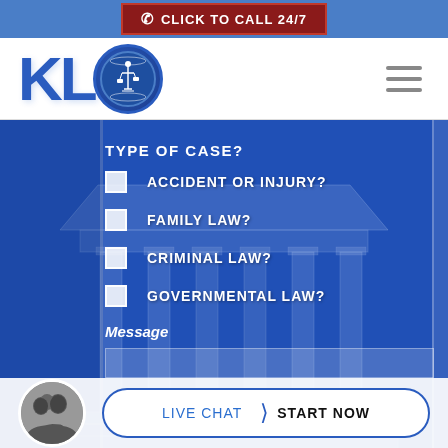CLICK TO CALL 24/7
[Figure (logo): KLO law firm logo with blue letters KL and circular emblem featuring Lady Justice with scales]
TYPE OF CASE?
ACCIDENT OR INJURY?
FAMILY LAW?
CRIMINAL LAW?
GOVERNMENTAL LAW?
Message
LIVE CHAT  START NOW